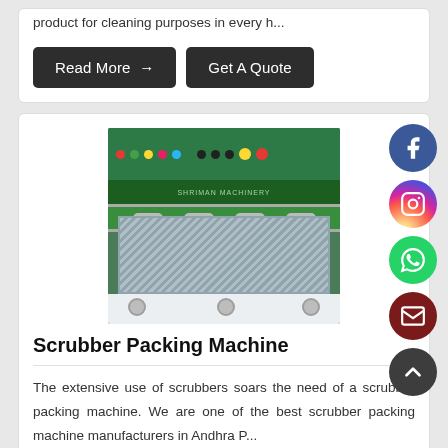product for cleaning purposes in every h...
Read More →
Get A Quote
[Figure (photo): Green industrial scrubber packing machine with control panel on top showing colored buttons and dials, middle section with metal rollers, and lower enclosed section. Machine is on white casters.]
Scrubber Packing Machine
The extensive use of scrubbers soars the need of a scrubber packing machine. We are one of the best scrubber packing machine manufacturers in Andhra P...